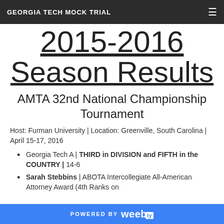GEORGIA TECH MOCK TRIAL
2015-2016 Season Results
AMTA 32nd National Championship Tournament
Host: Furman University | Location: Greenville, South Carolina | April 15-17, 2016
Georgia Tech A | THIRD in DIVISION and FIFTH in the COUNTRY | 14-6
Sarah Stebbins | ABOTA Intercollegiate All-American Attorney Award (4th Ranks on
POWERED BY weebly